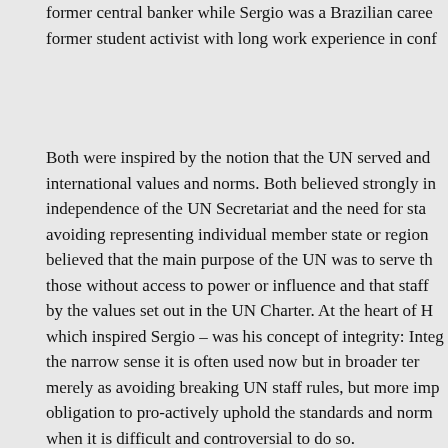former central banker while Sergio was a Brazilian career former student activist with long work experience in conf
Both were inspired by the notion that the UN served and international values and norms. Both believed strongly in independence of the UN Secretariat and the need for sta avoiding representing individual member state or region believed that the main purpose of the UN was to serve th those without access to power or influence and that staff by the values set out in the UN Charter. At the heart of H which inspired Sergio – was his concept of integrity: Integ the narrow sense it is often used now but in broader ter merely as avoiding breaking UN staff rules, but more imp obligation to pro-actively uphold the standards and norm when it is difficult and controversial to do so.